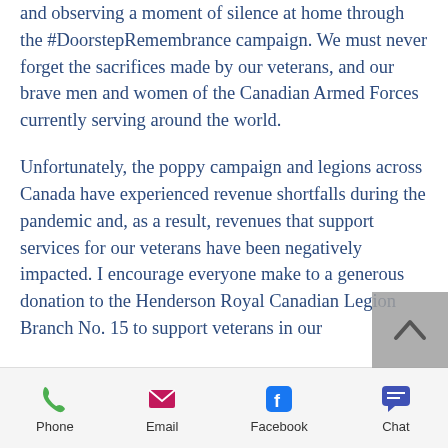and observing a moment of silence at home through the #DoorstepRemembrance campaign. We must never forget the sacrifices made by our veterans, and our brave men and women of the Canadian Armed Forces currently serving around the world.
Unfortunately, the poppy campaign and legions across Canada have experienced revenue shortfalls during the pandemic and, as a result, revenues that support services for our veterans have been negatively impacted. I encourage everyone make to a generous donation to the Henderson Royal Canadian Legion Branch No. 15 to support veterans in our
Phone  Email  Facebook  Chat